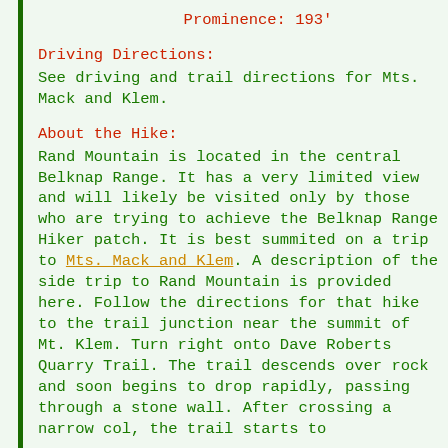Prominence: 193'
Driving Directions:
See driving and trail directions for Mts. Mack and Klem.
About the Hike:
Rand Mountain is located in the central Belknap Range. It has a very limited view and will likely be visited only by those who are trying to achieve the Belknap Range Hiker patch. It is best summited on a trip to Mts. Mack and Klem. A description of the side trip to Rand Mountain is provided here. Follow the directions for that hike to the trail junction near the summit of Mt. Klem. Turn right onto Dave Roberts Quarry Trail. The trail descends over rock and soon begins to drop rapidly, passing through a stone wall. After crossing a narrow col, the trail starts to